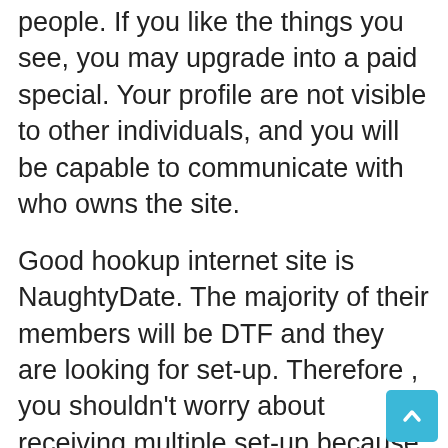people. If you like the things you see, you may upgrade into a paid special. Your profile are not visible to other individuals, and you will be capable to communicate with who owns the site.
Good hookup internet site is NaughtyDate. The majority of their members will be DTF and they are looking for set-up. Therefore , you shouldn't worry about receiving multiple set-up because many are sole and looking for fun. This means you'll not have to worry regarding wasting time on people that aren't suitable with you. And the ideal thing about NaughtyDate is its one of a kind matching program. Its users will be almost all DTF, and you're here sure to find someone right now there who is searching for a one-night stand